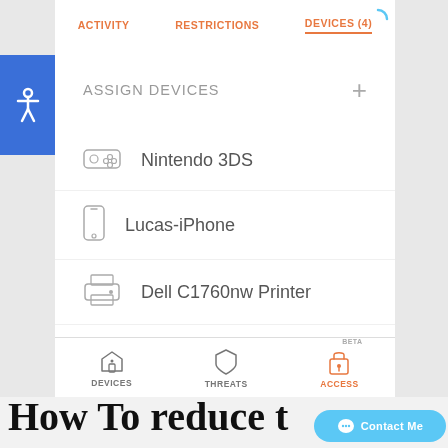[Figure (screenshot): Screenshot of a parental control / device management app showing tab navigation (ACTIVITY, RESTRICTIONS, DEVICES (4)), an ASSIGN DEVICES section with a + button, and a list of 4 devices: Nintendo 3DS, Lucas-iPhone, Dell C1760nw Printer, LUCAS DESKTOP. Bottom navigation bar shows DEVICES, THREATS, and ACCESS (active, in orange, labeled BETA). A blue accessibility icon is on the left. A loading spinner is top right.]
How To reduce t
[Figure (screenshot): Contact Me chat bubble button in light blue]